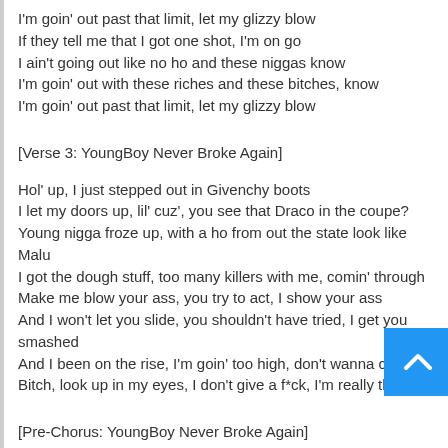I'm goin' out past that limit, let my glizzy blow
If they tell me that I got one shot, I'm on go
I ain't going out like no ho and these niggas know
I'm goin' out with these riches and these bitches, know
I'm goin' out past that limit, let my glizzy blow
[Verse 3: YoungBoy Never Broke Again]
Hol' up, I just stepped out in Givenchy boots
I let my doors up, lil' cuz', you see that Draco in the coupe?
Young nigga froze up, with a ho from out the state look like Malu
I got the dough stuff, too many killers with me, comin' through
Make me blow your ass, you try to act, I show your ass
And I won't let you slide, you shouldn't have tried, I get you smashed
And I been on the rise, I'm goin' too high, don't wanna crash
Bitch, look up in my eyes, I don't give a f*ck, I'm really that
[Pre-Chorus: YoungBoy Never Broke Again]
Bring 'em to a stand, have a shootout inside this club
I took too many Xans, I flipped this bitch who even mugged
She told me that she can't f*ck with me, I approached her a thug
Plus she prolly looked up in my face and seen I'm full of drugs